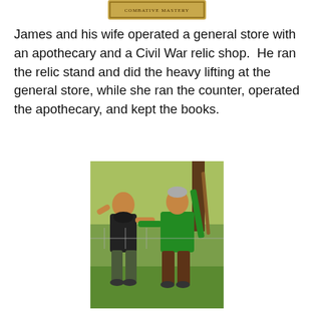[Figure (illustration): A framed sign or book cover with text at the top of the page (partially visible, cropped).]
James and his wife operated a general store with an apothecary and a Civil War relic shop.  He ran the relic stand and did the heavy lifting at the general store, while she ran the counter, operated the apothecary, and kept the books.
[Figure (photo): Two men practicing martial arts or self-defense outdoors under a tree. One wears a black shirt, the other a green shirt and brown pants. The man in green is holding a stick and appears to be demonstrating a technique.]